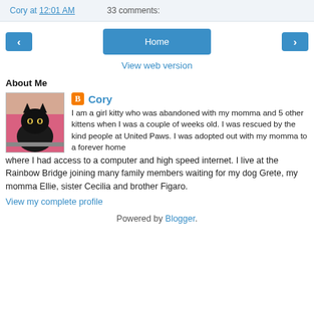Cory at 12:01 AM   33 comments:
< Home >
View web version
About Me
[Figure (photo): Photo of a black cat sitting in front of a pink surface]
Cory
I am a girl kitty who was abandoned with my momma and 5 other kittens when I was a couple of weeks old. I was rescued by the kind people at United Paws. I was adopted out with my momma to a forever home where I had access to a computer and high speed internet. I live at the Rainbow Bridge joining many family members waiting for my dog Grete, my momma Ellie, sister Cecilia and brother Figaro.
View my complete profile
Powered by Blogger.